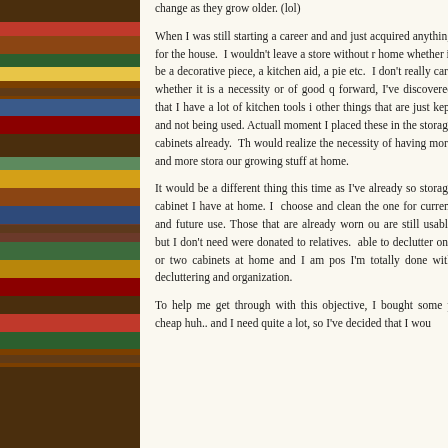[Figure (photo): Bookshelf with colorful books, viewed from the side, occupying the left portion of the page]
change as they grow older. (lol)

When I was still starting a career and and just acquired anything for the house. I wouldn't leave a store without returning home whether it be a decorative piece, a kitchen aid, a pie etc. I don't really care whether it is a necessity or of good quality. forward, I've discovered that I have a lot of kitchen tools i other things that are just kept and not being used. Actually moment I placed these in the storage cabinets already. Th would realize the necessity of having more and more storage our growing stuff at home.

It would be a different thing this time as I've already so storage cabinet I have at home. I choose and clean the one for current and future use. Those that are already worn ou are still usable but I don't need were donated to relatives. able to declutter one or two cabinets at home and I am pos I'm totally done with decluttering and organization.

To help me get through with this objective, I bought some p cheap huh.. and I need quite a lot, so I've decided that I wou